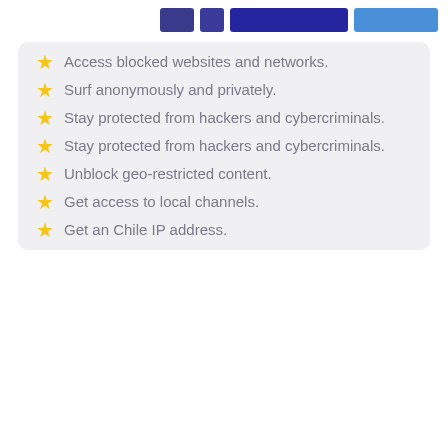[Figure (screenshot): Partially visible top navigation bar with dark blue icons and buttons]
Access blocked websites and networks.
Surf anonymously and privately.
Stay protected from hackers and cybercriminals.
Stay protected from hackers and cybercriminals.
Unblock geo-restricted content.
Get access to local channels.
Get an Chile IP address.